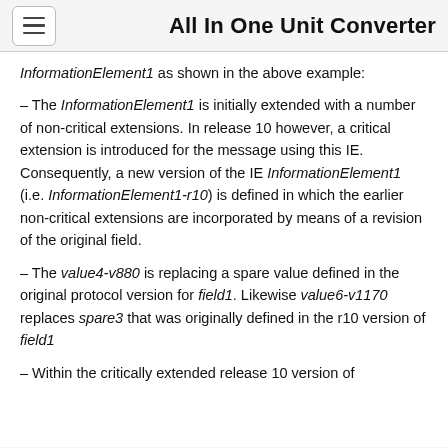All In One Unit Converter
InformationElement1 as shown in the above example:
– The InformationElement1 is initially extended with a number of non-critical extensions. In release 10 however, a critical extension is introduced for the message using this IE. Consequently, a new version of the IE InformationElement1 (i.e. InformationElement1-r10) is defined in which the earlier non-critical extensions are incorporated by means of a revision of the original field.
– The value4-v880 is replacing a spare value defined in the original protocol version for field1. Likewise value6-v1170 replaces spare3 that was originally defined in the r10 version of field1
– Within the critically extended release 10 version of